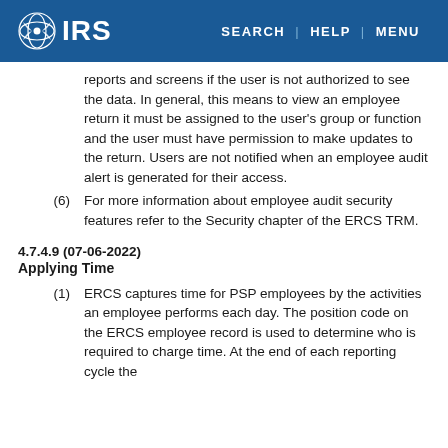IRS — SEARCH | HELP | MENU
reports and screens if the user is not authorized to see the data. In general, this means to view an employee return it must be assigned to the user's group or function and the user must have permission to make updates to the return. Users are not notified when an employee audit alert is generated for their access.
(6) For more information about employee audit security features refer to the Security chapter of the ERCS TRM.
4.7.4.9 (07-06-2022)
Applying Time
(1) ERCS captures time for PSP employees by the activities an employee performs each day. The position code on the ERCS employee record is used to determine who is required to charge time. At the end of each reporting cycle the